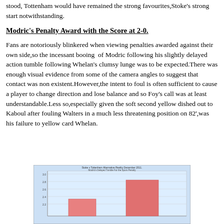stood, Tottenham would have remained the strong favourites,Stoke's strong start notwithstanding.
Modric's Penalty Award with the Score at 2-0.
Fans are notoriously blinkered when viewing penalties awarded against their own side,so the incessant booing of Modric following his slightly delayed action tumble following Whelan's clumsy lunge was to be expected.There was enough visual evidence from some of the camera angles to suggest that contact was non existent.However,the intent to foul is often sufficient to cause a player to change direction and lose balance and so Foy's call was at least understandable.Less so,especially given the soft second yellow dished out to Kaboul after fouling Walters in a much less threatening position on 82',was his failure to yellow card Whelan.
[Figure (bar-chart): Partial bar chart visible at bottom of page showing two bars, one salmon/red colored taller bar and one shorter bar.]